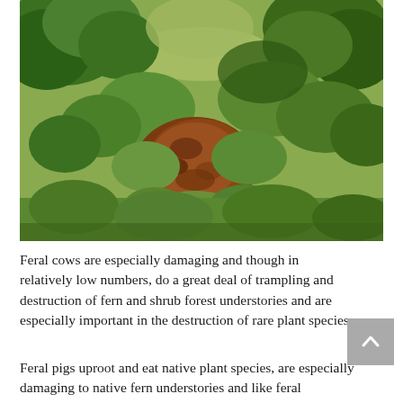[Figure (photo): Aerial view of a rocky clearing surrounded by dense green shrubs and trees, showing a red-brown eroded patch in the center, likely damage caused by feral animals in a forest understory.]
Feral cows are especially damaging and though in relatively low numbers, do a great deal of trampling and destruction of fern and shrub forest understories and are especially important in the destruction of rare plant species.
Feral pigs uproot and eat native plant species, are especially damaging to native fern understories and like feral